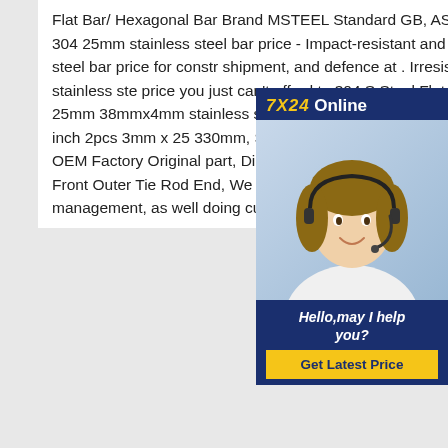Flat Bar/ Hexagonal Bar Brand MSTEEL Standard GB, ASTM, AISI, ASME, EN. 304 25mm stainless steel bar price - Impact-resistant and durable 304 stainless steel bar price for construction, shipment, and defence at . Irresistible deals on 304 25mm stainless steel bar price you just can't afford to 304 Stainless Steel Flat Bar Sheet 13 inch 2pcs 25mm 38mmx4mm stainless steel flat bar with and304 Stainless Steel Flat Bar Sheet 13 inch 2pcs 3mm x 25mm 330mm, Sterling Silver is a mixture of high-quality 92. Genuine OEM Factory Original part, Direct fit ensures easy and safe installation. 2 x Es5RI Front Outer Tie Rod End, We are proud to offer you the best selection of under new management, as well doing custom jewelry design and
[Figure (other): Chat popup widget showing '7X24 Online' header in navy/gold, photo of a woman with a headset microphone smiling, text 'Hello, may I help you?' and a yellow 'Get Latest Price' button.]